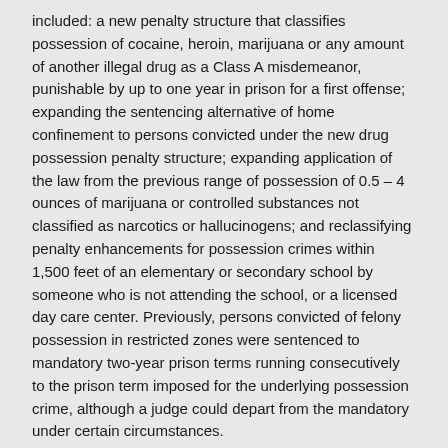included: a new penalty structure that classifies possession of cocaine, heroin, marijuana or any amount of another illegal drug as a Class A misdemeanor, punishable by up to one year in prison for a first offense; expanding the sentencing alternative of home confinement to persons convicted under the new drug possession penalty structure; expanding application of the law from the previous range of possession of 0.5 – 4 ounces of marijuana or controlled substances not classified as narcotics or hallucinogens; and reclassifying penalty enhancements for possession crimes within 1,500 feet of an elementary or secondary school by someone who is not attending the school, or a licensed day care center. Previously, persons convicted of felony possession in restricted zones were sentenced to mandatory two-year prison terms running consecutively to the prison term imposed for the underlying possession crime, although a judge could depart from the mandatory under certain circumstances.
Indiana—Changed Sentence Modification Process
Lawmakers changed the state's sentence modi cation process with the passage of Senate Bill 174. Under the previous law, persons who did not have credit restricted